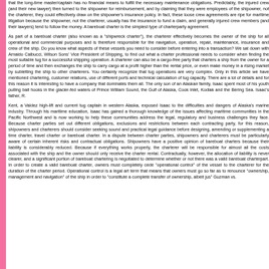that the long-time master/captain has no financial means to fulfill the necessary maintenance obligations. Predictably, the injured crew (and their new lawyer) then turned to the shipowner for reimbursement, and by claiming that they were employees of the shipowner, not the charterer, they could effectively draw on the shipowner's insurance policy. In fact, these loose crew agreements are ripe for maritime litigation because the shipowner, not the charterer, usually has the insurance to fund a claim, and generally injured crew members (and their lawyers) tend to follow the money. A bareboat charter is the simplest type of charterparty agreement.
As part of a bareboat charter (also known as a "shipwreck charter"), the charterer effectively becomes the owner of the ship for all operational and commercial purposes and is therefore responsible for the navigation, operation, repair, maintenance, insurance and crew of the ship. Do you know what aspects of these vessels you need to consider before entering into a transaction? We sat down with Arnaldo Calbucci, Wilson Sons' Vice President of Shipping, to find out what a charter professional needs to consider when finding the most suitable tug for a successful shipping operation. A charterer can also be a cargo-free party that charters a ship from the owner for a period of time and then exchanges the ship to carry cargo at a profit higher than the rental price, or even make money in a rising market by subletting the ship to other charterers. You certainly recognize that tug operations are very complex. Only in this article we have mentioned chartering, customer relations, use of different ports and technical calculation of tug capacity. There are a lot of details and for this reason it is interesting to have a company that dominates them all. The only son of an Alaskan family, Isaac spent most of his youth pulling bait hooks in the glacier-fed waters of Prince William Sound, the Gulf of Alaska, Cook Inlet, Kodiak and the Bering Sea. Isaac's father, R.
Kent, a Valdez high-lift and current tug captain in western Alaska, exposed Isaac to the difficulties and dangers of Alaska's marine industry. Through his maritime education, Isaac has gained a thorough knowledge of the issues affecting maritime communities in the Pacific Northwest and is now working to help these communities address the legal, regulatory and business challenges they face. Because charter parties set out different obligations, exclusions and restrictions between each contracting party, for this reason, shipowners and charterers should consider seeking sound and practical legal guidance before designing, amending or supplementing a time charter, travel charter or bareboat charter. In a dispute between charter parties, shipowners and charterers must be particularly aware of certain inherent risks and contractual obligations. Shipowners have a positive opinion of bareboat charters because their liability is considerably reduced. Because if everything works properly, the charterer will be responsible for almost all the costs associated with the ship and the owner should only receive the charter rental. Contractually, however, the allocation of liability is never clearer, and a significant portion of bareboat chartering is negotiated to determine whether or not there was a valid bareboat charterpart. In order to create a valid bareboat charter, owners must completely cede "operational control" of the vessel to the charterer for the duration of the charter period. Operational control is a legal art term that means that owners must go so far as to renounce "ownership, management and navigation" of the ship in order to "constitute a complete transfer of ownership, albeit jus" Guzman vs.